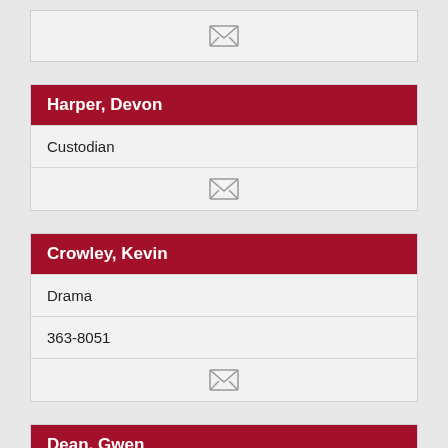[Figure (other): Partial contact card top with envelope/email icon]
Harper, Devon
Custodian
[Figure (other): Envelope/email icon for Harper Devon]
Crowley, Kevin
Drama
363-8051
[Figure (other): Envelope/email icon for Crowley Kevin]
Dean, Gwen